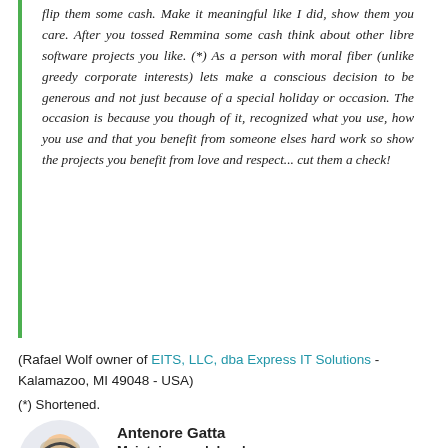flip them some cash. Make it meaningful like I did, show them you care. After you tossed Remmina some cash think about other libre software projects you like. (*) As a person with moral fiber (unlike greedy corporate interests) lets make a conscious decision to be generous and not just because of a special holiday or occasion. The occasion is because you though of it, recognized what you use, how you use and that you benefit from someone elses hard work so show the projects you benefit from love and respect... cut them a check!
(Rafael Wolf owner of EITS, LLC, dba Express IT Solutions - Kalamazoo, MI 49048 - USA)
(*) Shortened.
Antenore Gatta
Maintainer and developer
Proud and busy hacker